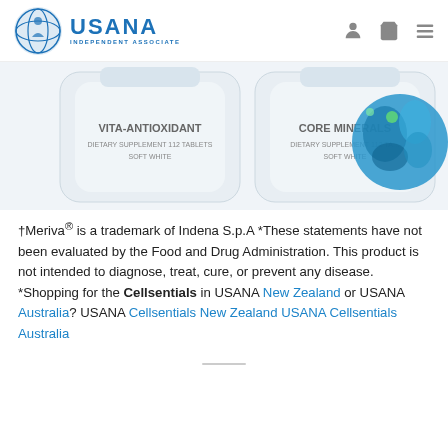USANA INDEPENDENT ASSOCIATE
[Figure (photo): Product photo showing two USANA supplement bottles (Vita-Antioxidant and Core Minerals) and a decorative blue-toned circular graphic element]
†Meriva® is a trademark of Indena S.p.A *These statements have not been evaluated by the Food and Drug Administration. This product is not intended to diagnose, treat, cure, or prevent any disease. *Shopping for the Cellsentials in USANA New Zealand or USANA Australia? USANA Cellsentials New Zealand USANA Cellsentials Australia